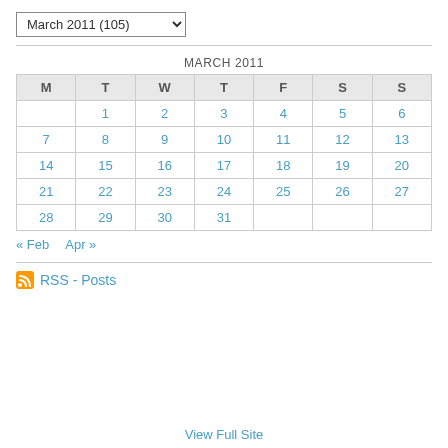[Figure (other): Dropdown selector showing 'March 2011 (105)']
| M | T | W | T | F | S | S |
| --- | --- | --- | --- | --- | --- | --- |
|  | 1 | 2 | 3 | 4 | 5 | 6 |
| 7 | 8 | 9 | 10 | 11 | 12 | 13 |
| 14 | 15 | 16 | 17 | 18 | 19 | 20 |
| 21 | 22 | 23 | 24 | 25 | 26 | 27 |
| 28 | 29 | 30 | 31 |  |  |  |
« Feb   Apr »
RSS - Posts
View Full Site